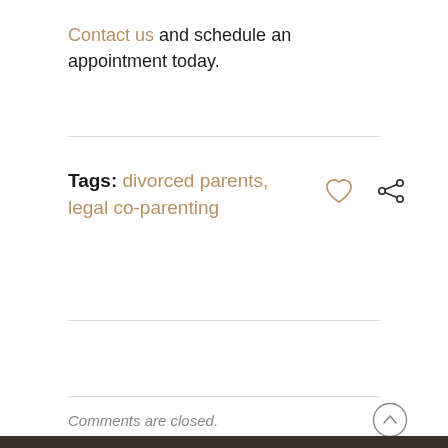Contact us and schedule an appointment today.
Tags: divorced parents, legal co-parenting
Comments are closed.